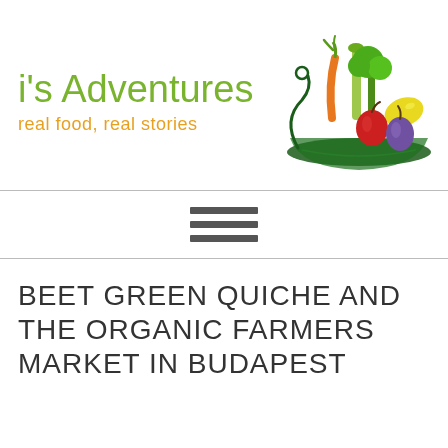[Figure (logo): Blog logo with text "i's Adventures" in green handwritten font, subtitle "real food, real stories" in orange handwritten font, and a vegetable illustration on the right showing broccoli, carrot, leek, apple, lemon, and onion in a bowl]
[Figure (other): Hamburger menu icon: three horizontal dark grey bars]
BEET GREEN QUICHE AND THE ORGANIC FARMERS MARKET IN BUDAPEST